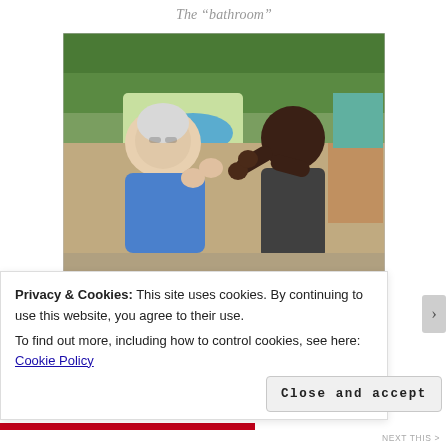The “bathroom”
[Figure (photo): An elderly white-haired woman in blue scrubs interacting with a young African child outdoors, holding hands, with green vegetation and items in the background.]
Miss Sue singing “Jesus Loves Me” with A-
Privacy & Cookies: This site uses cookies. By continuing to use this website, you agree to their use.
To find out more, including how to control cookies, see here: Cookie Policy
Close and accept